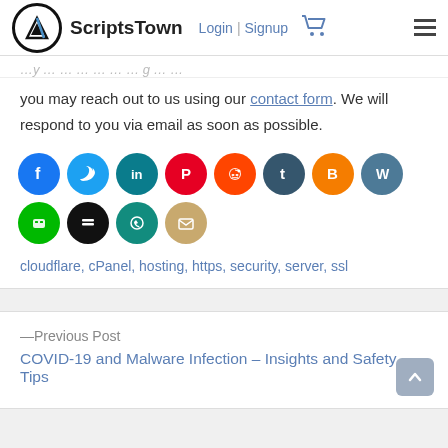ScriptsTown — Login | Signup
you may reach out to us using our contact form. We will respond to you via email as soon as possible.
[Figure (infographic): Row of social media share icons: Facebook (blue), Twitter (light blue), LinkedIn (teal), Pinterest (red), Reddit (orange-red), Tumblr (dark teal), Blogger (orange), WordPress (dark blue-gray), LINE (green), Buffer (black), WhatsApp (teal-green), Email (tan/gold)]
cloudflare, cPanel, hosting, https, security, server, ssl
—Previous Post
COVID-19 and Malware Infection – Insights and Safety Tips